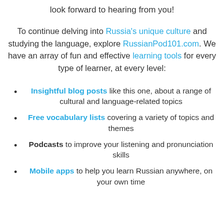look forward to hearing from you!
To continue delving into Russia's unique culture and studying the language, explore RussianPod101.com. We have an array of fun and effective learning tools for every type of learner, at every level:
Insightful blog posts like this one, about a range of cultural and language-related topics
Free vocabulary lists covering a variety of topics and themes
Podcasts to improve your listening and pronunciation skills
Mobile apps to help you learn Russian anywhere, on your own time